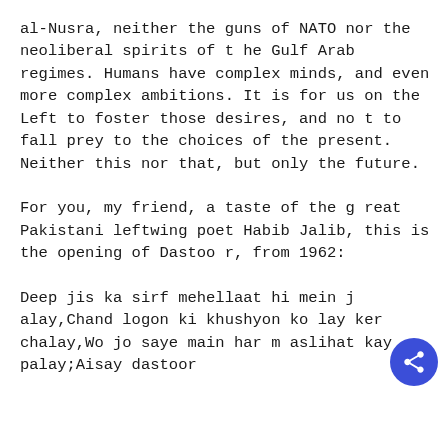al-Nusra, neither the guns of NATO nor the neoliberal spirits of the Gulf Arab regimes. Humans have complex minds, and even more complex ambitions. It is for us on the Left to foster those desires, and not to fall prey to the choices of the present. Neither this nor that, but only the future.
For you, my friend, a taste of the great Pakistani leftwing poet Habib Jalib, this is the opening of Dastoor, from 1962:
Deep jis ka sirf mehellaat hi mein jalay,Chand logon ki khushyon ko lay ker chalay,Wo jo saye main har maslihat kay palay;Aisay dastoor